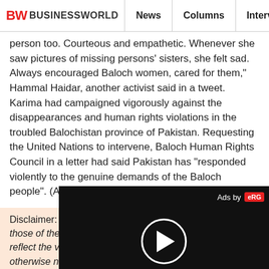BW BUSINESSWORLD | News | Columns | Interviews | BW
person too. Courteous and empathetic. Whenever she saw pictures of missing persons' sisters, she felt sad. Always encouraged Baloch women, cared for them," Hammal Haidar, another activist said in a tweet.
Karima had campaigned vigorously against the disappearances and human rights violations in the troubled Balochistan province of Pakistan. Requesting the United Nations to intervene, Baloch Human Rights Council in a letter had said Pakistan has "responded violently to the genuine demands of the Baloch people". (ANI)
Disclaimer: The views expressed in the article above are those of the authors' and do not necessarily represent or reflect the views of this publishing house. Unless otherwise noted, the author is writing in his/her personal capacity. They are not intended and should not be thought to rep... attitudes, or policies of any agency or inst...
Tags assigned to this article:
Pakistan Senate
Baloch rights activist
Karima Baloch
[Figure (screenshot): Video ad overlay with black background, 'Ads by' label with red logo icon, and a circular play button in white]